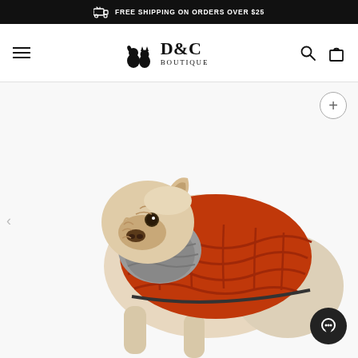FREE SHIPPING ON ORDERS OVER $25
[Figure (logo): D&C Boutique logo with cat and dog silhouette icon, navigation bar with hamburger menu, search icon, and cart icon]
[Figure (photo): French bulldog wearing an orange quilted puffer vest/jacket with gray neck collar on white background]